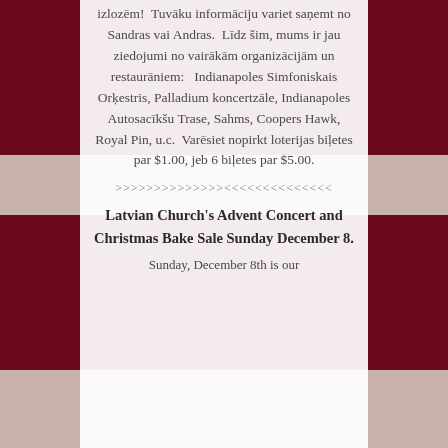izlozēm!  Tuvāku informāciju variet saņemt no Sandras vai Andras.  Līdz šim, mums ir jau ziedojumi no vairākām organizācijām un restaurāniem:   Indianapoles Simfoniskais Orķestris, Palladium koncertzāle, Indianapoles Autosacīkšu Trase, Sahms, Coopers Hawk, Royal Pin, u.c.  Varēsiet nopirkt loterijas biļetes par $1.00, jeb 6 biļetes par $5.00.
>>>>>>>>>>>>>><<<<<<<<<<<<<<
Latvian Church's Advent Concert and Christmas Bake Sale Sunday December 8.
Sunday, December 8th is our